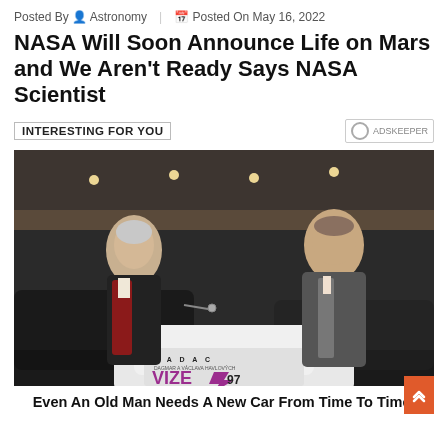Posted By 👤 Astronomy | 📅 Posted On May 16, 2022
NASA Will Soon Announce Life on Mars and We Aren’t Ready Says NASA Scientist
INTERESTING FOR YOU
[Figure (photo): Two men standing in a car showroom, one older man in a dark jacket and red sweater, one younger man in a grey suit, exchanging car keys over a white car with 'NADAC VIZE 97' branding on it.]
Even An Old Man Needs A New Car From Time To Time!